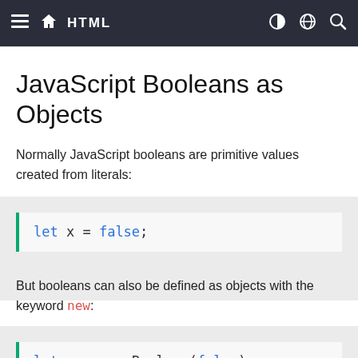HTML
JavaScript Booleans as Objects
Normally JavaScript booleans are primitive values created from literals:
But booleans can also be defined as objects with the keyword new: